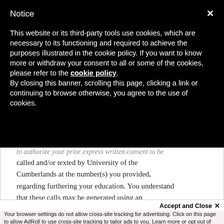Notice
This website or its third-party tools use cookies, which are necessary to its functioning and required to achieve the purposes illustrated in the cookie policy. If you want to know more or withdraw your consent to all or some of the cookies, please refer to the cookie policy.
By closing this banner, scrolling this page, clicking a link or continuing to browse otherwise, you agree to the use of cookies.
...to authorize your prior express written consent to be called and/or texted by University of the Cumberlands at the number(s) you provided, regarding furthering your education. You understand that these calls may be generated using an automated technology.
Accept and Close ✕
Your browser settings do not allow cross-site tracking for advertising. Click on this page to allow AdRoll to use cross-site tracking to tailor ads to you. Learn more or opt out of this AdRoll tracking by clicking here. This message only appears once.